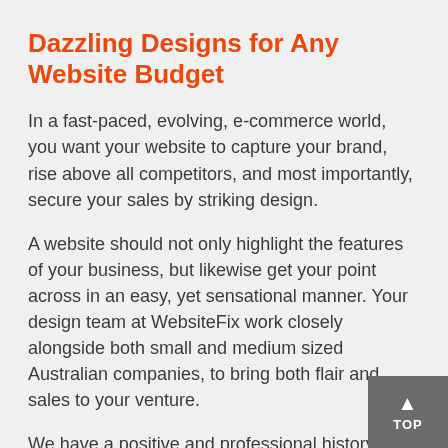Dazzling Designs for Any Website Budget
In a fast-paced, evolving, e-commerce world, you want your website to capture your brand, rise above all competitors, and most importantly, secure your sales by striking design.
A website should not only highlight the features of your business, but likewise get your point across in an easy, yet sensational manner. Your design team at WebsiteFix work closely alongside both small and medium sized Australian companies, to bring both flair and sales to your venture.
We have a positive and professional history of adding